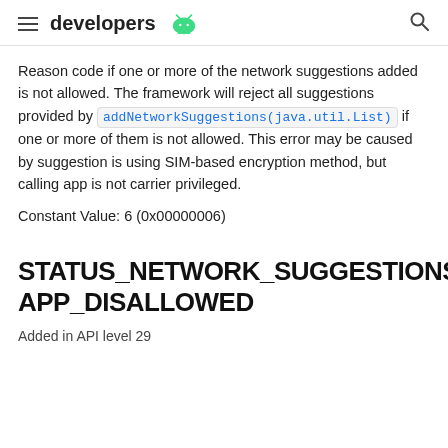developers
Reason code if one or more of the network suggestions added is not allowed. The framework will reject all suggestions provided by addNetworkSuggestions(java.util.List) if one or more of them is not allowed. This error may be caused by suggestion is using SIM-based encryption method, but calling app is not carrier privileged.
Constant Value: 6 (0x00000006)
STATUS_NETWORK_SUGGESTIONS_ERROR_APP_DISALLOWED
Added in API level 29